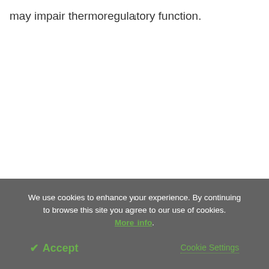may impair thermoregulatory function.
We use cookies to enhance your experience. By continuing to browse this site you agree to our use of cookies. More info.
✔ Accept
Cookie Settings